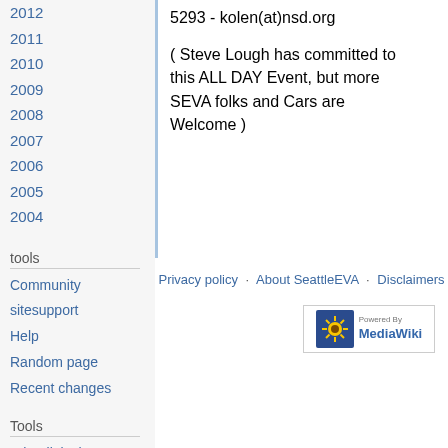2012
2011
2010
2009
2008
2007
2006
2005
2004
5293 - kolen(at)nsd.org
( Steve Lough has committed to this ALL DAY Event, but more SEVA folks and Cars are Welcome )
tools
Community
sitesupport
Help
Random page
Recent changes
Tools
What links here
Related changes
Special pages
Printable version
Permanent link
Page information
Privacy policy  About SeattleEVA  Disclaimers
[Figure (logo): Powered by MediaWiki badge with sunflower icon]